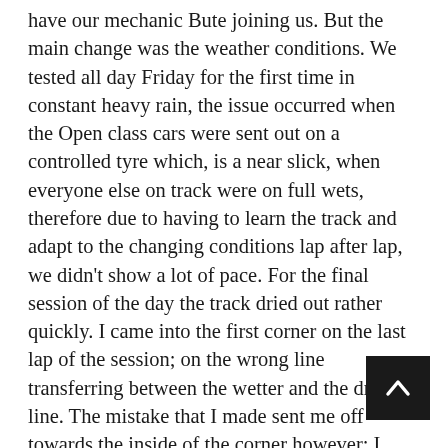have our mechanic Bute joining us. But the main change was the weather conditions. We tested all day Friday for the first time in constant heavy rain, the issue occurred when the Open class cars were sent out on a controlled tyre which, is a near slick, when everyone else on track were on full wets, therefore due to having to learn the track and adapt to the changing conditions lap after lap, we didn't show a lot of pace. For the final session of the day the track dried out rather quickly. I came into the first corner on the last lap of the session; on the wrong line transferring between the wetter and the dry line. The mistake that I made sent me off towards the inside of the corner however; I over corrected myself and ended up with a heavy impact into the armco on the outside of the corner. After assessing the damage, myself, I then made the decision to drive the car back to the pit lane following the flatbed truck, as the damage looked to be mainly cosmetic. As I wouldn't have another chance to drive the car until qualifying on Saturday morning, I wanted to drive